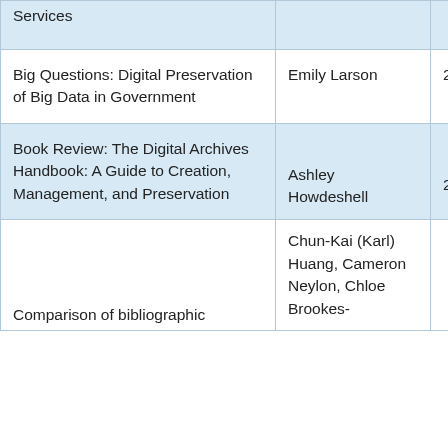| Title | Author | Year |
| --- | --- | --- |
| Services |  |  |
| Big Questions: Digital Preservation of Big Data in Government | Emily Larson | 2020 |
| Book Review: The Digital Archives Handbook: A Guide to Creation, Management, and Preservation | Ashley Howdeshell | 2020 |
| Comparison of bibliographic | Chun-Kai (Karl) Huang, Cameron Neylon, Chloe Brookes- |  |